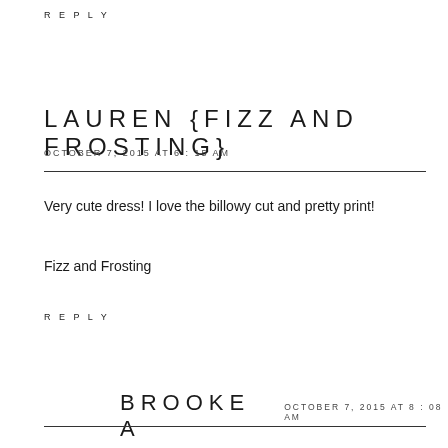REPLY
LAUREN {FIZZ AND FROSTING}
OCTOBER 7, 2015 AT 6:15 AM
Very cute dress! I love the billowy cut and pretty print!
Fizz and Frosting
REPLY
BROOKE A
OCTOBER 7, 2015 AT 8:08 AM